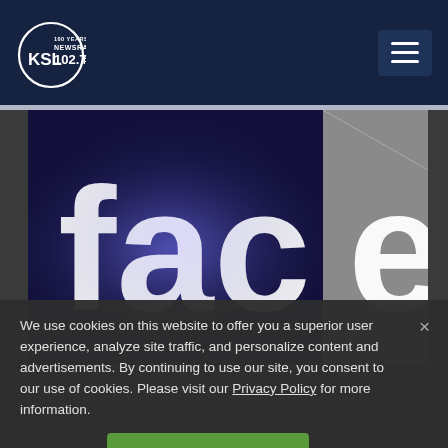KSL NewsRadio 102.7FM
[Figure (photo): Close-up photo of a Facebook illuminated logo sign showing large white 'face' letters on a dark/navy background with lighting effects]
We use cookies on this website to offer you a superior user experience, analyze site traffic, and personalize content and advertisements. By continuing to use our site, you consent to our use of cookies. Please visit our Privacy Policy for more information.
Accept Cookies